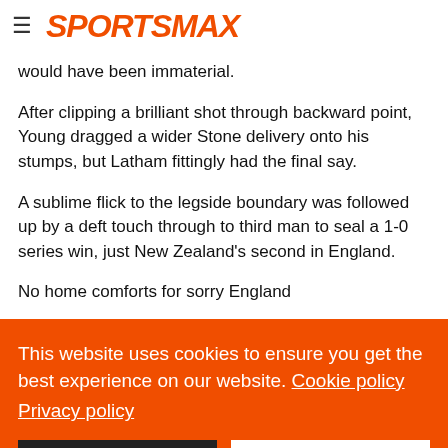SPORTSMAX
would have been immaterial.
After clipping a brilliant shot through backward point, Young dragged a wider Stone delivery onto his stumps, but Latham fittingly had the final say.
A sublime flick to the legside boundary was followed up by a deft touch through to third man to seal a 1-0 series win, just New Zealand's second in England.
No home comforts for sorry England
This website uses cookies to ensure you get the best experience on our website. Cookie policy
Privacy policy
Decline
Allow cookies